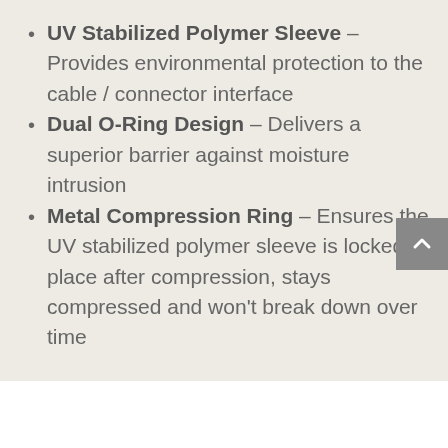UV Stabilized Polymer Sleeve – Provides environmental protection to the cable / connector interface
Dual O-Ring Design – Delivers a superior barrier against moisture intrusion
Metal Compression Ring – Ensures the UV stabilized polymer sleeve is locked in place after compression, stays compressed and won't break down over time